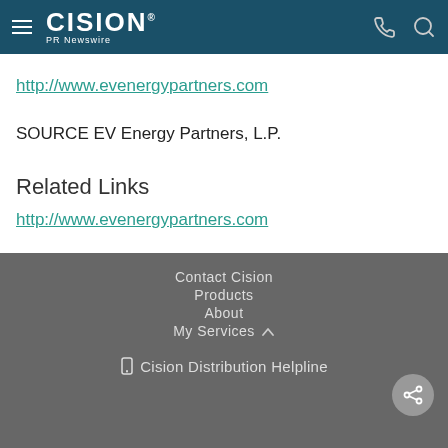CISION PR Newswire
http://www.evenergypartners.com
SOURCE EV Energy Partners, L.P.
Related Links
http://www.evenergypartners.com
Contact Cision
Products
About
My Services
Cision Distribution Helpline